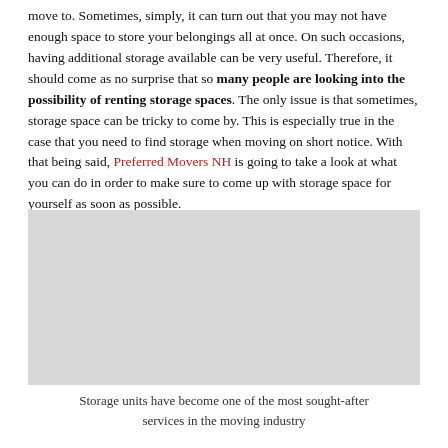move to. Sometimes, simply, it can turn out that you may not have enough space to store your belongings all at once. On such occasions, having additional storage available can be very useful. Therefore, it should come as no surprise that so many people are looking into the possibility of renting storage spaces. The only issue is that sometimes, storage space can be tricky to come by. This is especially true in the case that you need to find storage when moving on short notice. With that being said, Preferred Movers NH is going to take a look at what you can do in order to make sure to come up with storage space for yourself as soon as possible.
[Figure (photo): Image placeholder — storage units photo]
Storage units have become one of the most sought-after services in the moving industry